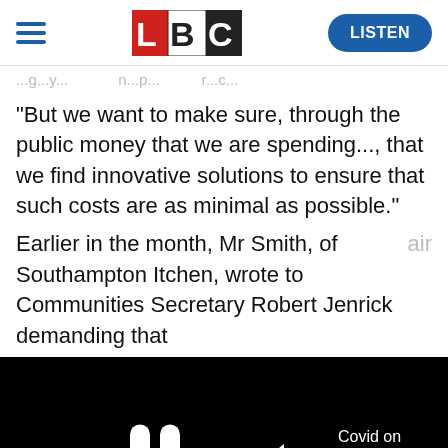LBC — LISTEN
...g...y...n...p... ...r...c...
"But we want to make sure, through the public money that we are spending..., that we find innovative solutions to ensure that such costs are as minimal as possible."
Earlier in the month, Mr Smith, of Southampton Itchen, wrote to Communities Secretary Robert Jenrick demanding that
[Figure (screenshot): Embedded video player with black background, pause button icon, mute icon, and partial video title 'Covid on Cam... MPs...' with a progress bar at the bottom.]